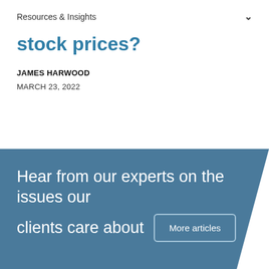Resources & Insights
stock prices?
JAMES HARWOOD
MARCH 23, 2022
Hear from our experts on the issues our clients care about  More articles